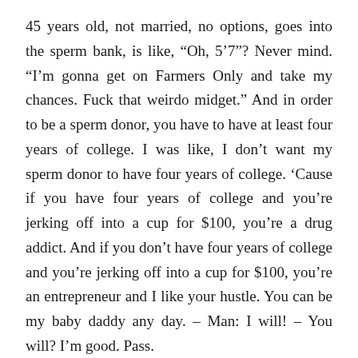45 years old, not married, no options, goes into the sperm bank, is like, “Oh, 5’7”? Never mind. “I’m gonna get on Farmers Only and take my chances. Fuck that weirdo midget.” And in order to be a sperm donor, you have to have at least four years of college. I was like, I don’t want my sperm donor to have four years of college. ‘Cause if you have four years of college and you’re jerking off into a cup for $100, you’re a drug addict. And if you don’t have four years of college and you’re jerking off into a cup for $100, you’re an entrepreneur and I like your hustle. You can be my baby daddy any day. – Man: I will! – You will? I’m good. Pass.
Got me into some trouble. I get cheated on. Has